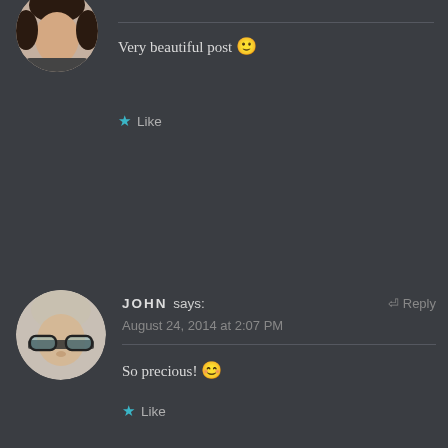[Figure (photo): Circular avatar photo of a person, partially visible at top of page]
Very beautiful post 🙂
★ Like
[Figure (photo): Circular avatar photo of John, a man with glasses]
JOHN says:
August 24, 2014 at 2:07 PM
Reply
So precious! 😊
★ Like
[Figure (photo): Circular avatar photo of Amy Saab, black and white photo with camera]
AMY SAAB says:
August 26, 2014 at 1:36 PM
Reply
thank you, John